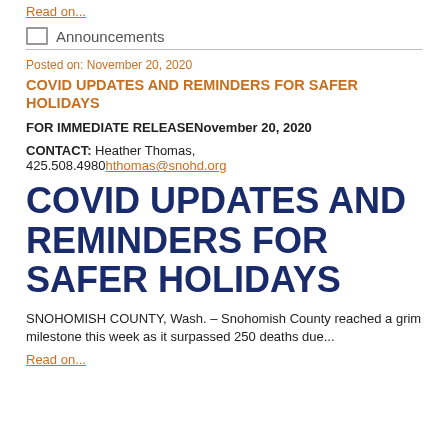Read on...
Announcements
Posted on: November 20, 2020
COVID UPDATES AND REMINDERS FOR SAFER HOLIDAYS
FOR IMMEDIATE RELEASENovember 20, 2020
CONTACT: Heather Thomas, 425.508.4980 hthomas@snohd.org
COVID UPDATES AND REMINDERS FOR SAFER HOLIDAYS
SNOHOMISH COUNTY, Wash. – Snohomish County reached a grim milestone this week as it surpassed 250 deaths due...
Read on...